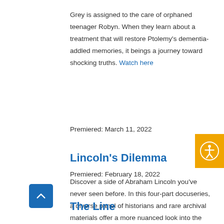Grey is assigned to the care of orphaned teenager Robyn. When they learn about a treatment that will restore Ptolemy's dementia-addled memories, it beings a journey toward shocking truths. Watch here
Premiered: March 11, 2022
Lincoln's Dilemma
Discover a side of Abraham Lincoln you've never seen before. In this four-part docuseries, a diverse panel of historians and rare archival materials offer a more nuanced look into the man dubbed the Great Emancipator. Watch here
Premiered: February 18, 2022
The Line